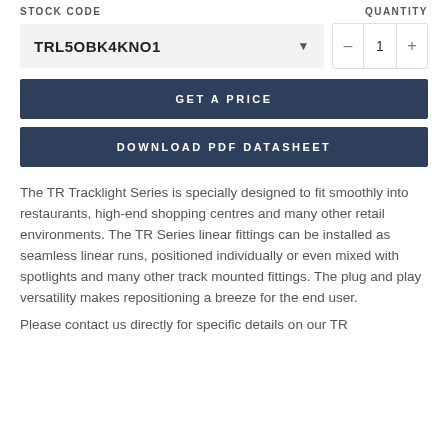STOCK CODE    QUANTITY
TRL5OBK4KNO1
GET A PRICE
DOWNLOAD PDF DATASHEET
The TR Tracklight Series is specially designed to fit smoothly into restaurants, high-end shopping centres and many other retail environments. The TR Series linear fittings can be installed as seamless linear runs, positioned individually or even mixed with spotlights and many other track mounted fittings. The plug and play versatility makes repositioning a breeze for the end user.
Please contact us directly for specific details on our TR